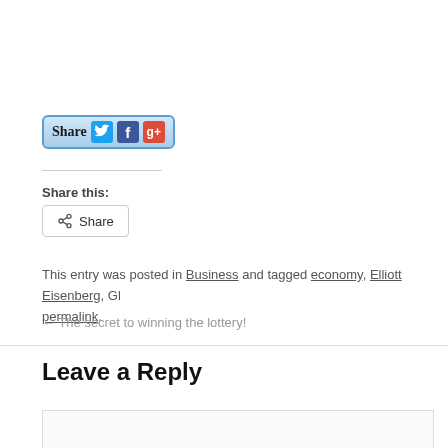[Figure (other): Share button with Twitter, Facebook, and Google+ social media icons]
Share this:
[Figure (other): Share button with share icon]
This entry was posted in Business and tagged economy, Elliott Eisenberg, Gl... permalink.
← The secret to winning the lottery!
Leave a Reply